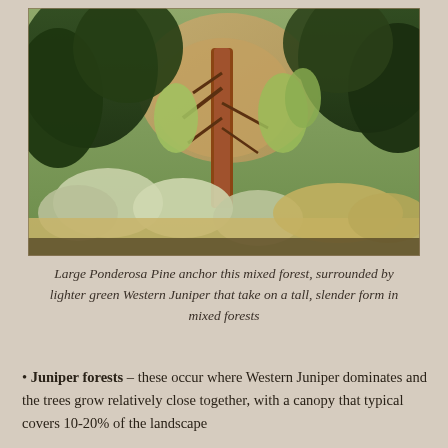[Figure (photo): Outdoor forest photograph showing large Ponderosa Pine trees with reddish-brown bark at center, surrounded by lighter green Western Juniper trees in a tall slender form, with shrubs and golden grasses in the foreground, rocky cliff face visible in the background.]
Large Ponderosa Pine anchor this mixed forest, surrounded by lighter green Western Juniper that take on a tall, slender form in mixed forests
Juniper forests – these occur where Western Juniper dominates and the trees grow relatively close together, with a canopy that typical covers 10-20% of the landscape